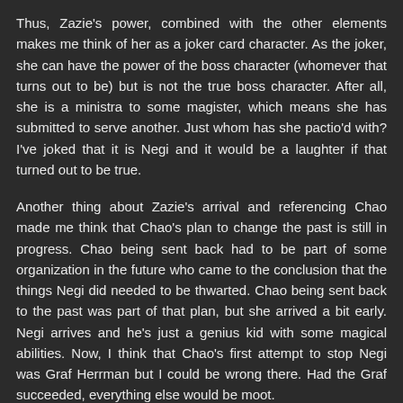Thus, Zazie's power, combined with the other elements makes me think of her as a joker card character. As the joker, she can have the power of the boss character (whomever that turns out to be) but is not the true boss character. After all, she is a ministra to some magister, which means she has submitted to serve another. Just whom has she pactio'd with? I've joked that it is Negi and it would be a laughter if that turned out to be true.
Another thing about Zazie's arrival and referencing Chao made me think that Chao's plan to change the past is still in progress. Chao being sent back had to be part of some organization in the future who came to the conclusion that the things Negi did needed to be thwarted. Chao being sent back to the past was part of that plan, but she arrived a bit early. Negi arrives and he's just a genius kid with some magical abilities. Now, I think that Chao's first attempt to stop Negi was Graf Herrman but I could be wrong there. Had the Graf succeeded, everything else would be moot.
Whether or not Chao was involved with that, we do know she made a slight plan change to involve Negi in her plans, thus insuring her history changed. That failed so it was onto the plan whereby she sent Negi forward in time. That failed when Negi